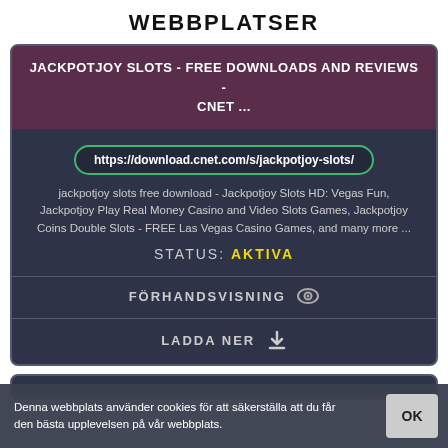WEBBPLATSER
JACKPOTJOY SLOTS - FREE DOWNLOADS AND REVIEWS - CNET ...
https://download.cnet.com/s/jackpotjoy-slots/
jackpotjoy slots free download - Jackpotjoy Slots HD: Vegas Fun, Jackpotjoy Play Real Money Casino and Video Slots Games, Jackpotjoy Coins Double Slots - FREE Las Vegas Casino Games, and many more ...
STATUS: AKTIVA
FÖRHANDSVISNING
LADDA NER
Denna webbplats använder cookies för att säkerställa att du får den bästa upplevelsen på vår webbplats.